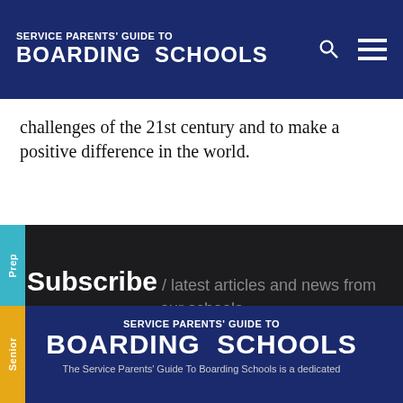SERVICE PARENTS' GUIDE TO BOARDING SCHOOLS
challenges of the 21st century and to make a positive difference in the world.
Subscribe / latest articles and news from our schools
Enter your email...
SERVICE PARENTS' GUIDE TO BOARDING SCHOOLS — The Service Parents' Guide To Boarding Schools is a dedicated